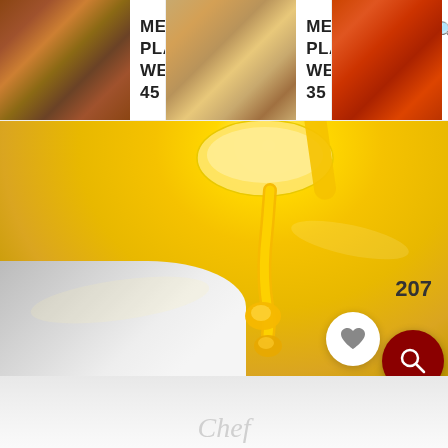[Figure (screenshot): Website navigation bar showing three meal plan cards. Card 1: thumbnail of grilled meat with text 'MEAL PLAN WEEK 45'. Card 2: thumbnail of breaded balls/meatballs with text 'MEAL PLAN WEEK 35'. Card 3: thumbnail of orange/red food partially visible with text 'MEAL PLAN WEEK 51' and search/arrow icons overlaid.]
[Figure (photo): Close-up photo of bright yellow cheese sauce being drizzled from a spoon into a white baking dish. The sauce is thick and glossy, with drizzle drops visible mid-air. The background is an out-of-focus yellow sauce filling a white rectangular dish. Two circular buttons are visible in the lower right: a white circle with a heart icon showing '207', and a dark red circle with a search/magnifying glass icon.]